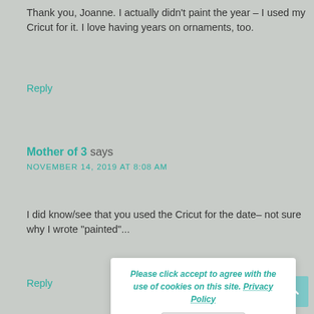Thank you, Joanne. I actually didn't paint the year – I used my Cricut for it. I love having years on ornaments, too.
Reply
Mother of 3 says
NOVEMBER 14, 2019 AT 8:08 AM
I did know/see that you used the Cricut for the date– not sure why I wrote “painted”...
Reply
Please click accept to agree with the use of cookies on this site. Privacy Policy
OKAY